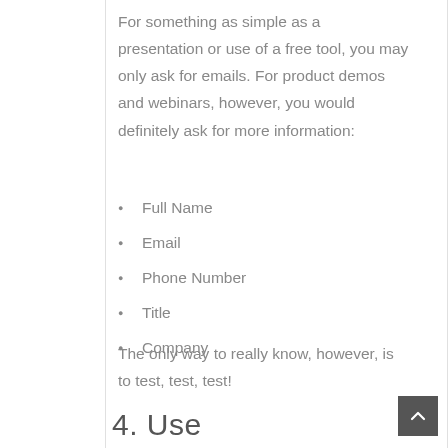For something as simple as a presentation or use of a free tool, you may only ask for emails. For product demos and webinars, however, you would definitely ask for more information:
Full Name
Email
Phone Number
Title
Company
The only way to really know, however, is to test, test, test!
4. Use